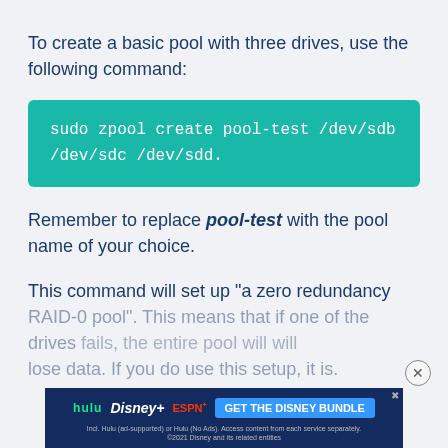To create a basic pool with three drives, use the following command:
sudo zpool create pool-test /dev/sdb /dev/sdc /dev/sdd.
Remember to replace pool-test with the pool name of your choice.
This command will set up “a zero redundancy RAID-0 pool”. This means that if one of the drives fails, the entire pool will lose data. If you do use this setup, it is.